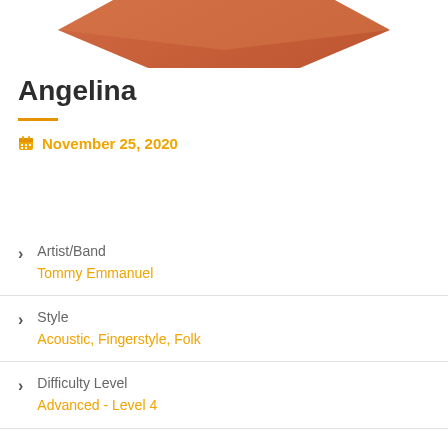[Figure (illustration): Partial orange/copper diamond or guitar pick shape visible at top of page, cropped]
Angelina
November 25, 2020
Artist/Band: Tommy Emmanuel
Style: Acoustic, Fingerstyle, Folk
Difficulty Level: Advanced - Level 4